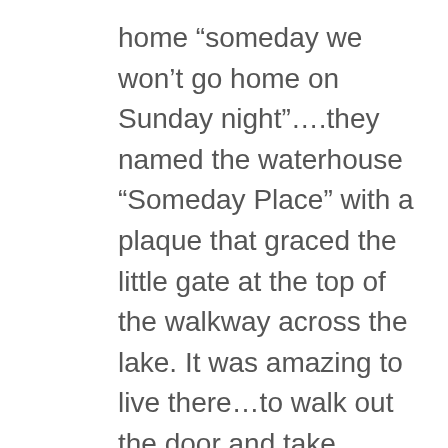home “someday we won’t go home on Sunday night”….they named the waterhouse “Someday Place” with a plaque that graced the little gate at the top of the walkway across the lake. It was amazing to live there…to walk out the door and take seven steps to jump in the lake, to have friends over and jump off the upper deck to swim, to have slight movement in the house though nothing like a boat…it is sturdy! , to be surrounded by nature like the ducks, the great blue herons, an eagle here an there, the deer on